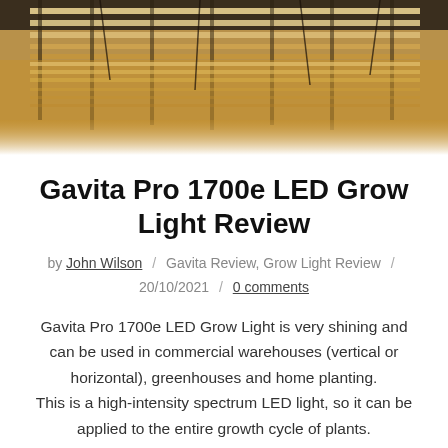[Figure (photo): Overhead view of Gavita Pro 1700e LED grow lights mounted on ceiling of a commercial greenhouse or warehouse, showing rows of LED light bars emitting warm light.]
Gavita Pro 1700e LED Grow Light Review
by John Wilson / Gavita Review, Grow Light Review / 20/10/2021 / 0 comments
Gavita Pro 1700e LED Grow Light is very shining and can be used in commercial warehouses (vertical or horizontal), greenhouses and home planting. This is a high-intensity spectrum LED light, so it can be applied to the entire growth cycle of plants.